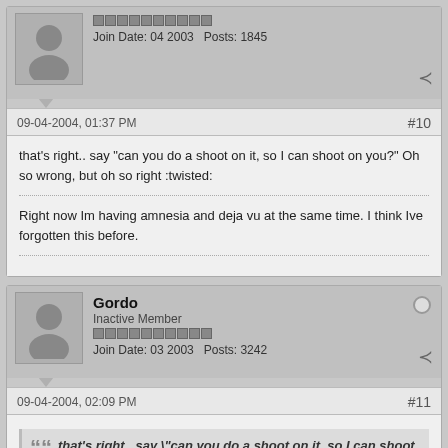Join Date: 04 2003   Posts: 1845
09-04-2004, 01:37 PM
#10
that's right.. say "can you do a shoot on it, so I can shoot on you?" Oh so wrong, but oh so right :twisted:
Right now Im having amnesia and deja vu at the same time. I think Ive forgotten this before.
Gordo
Inactive Member
Join Date: 03 2003   Posts: 3242
09-04-2004, 02:09 PM
#11
that's right.. say \"can you do a shoot on it, so I can shoot on you?\" Oh so wrong, but oh so right  :twisted: